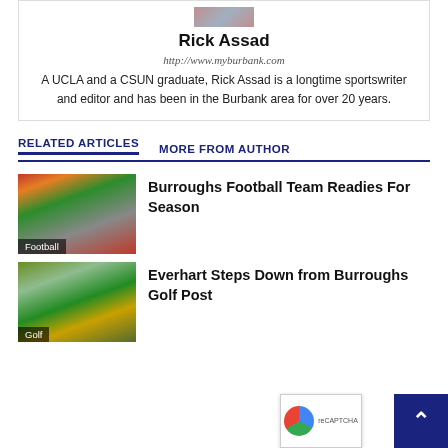[Figure (photo): Author photo thumbnail of Rick Assad]
Rick Assad
http://www.myburbank.com
A UCLA and a CSUN graduate, Rick Assad is a longtime sportswriter and editor and has been in the Burbank area for over 20 years.
RELATED ARTICLES
MORE FROM AUTHOR
[Figure (photo): Football players practicing on field with red uniforms, label: Football]
Burroughs Football Team Readies For Season
[Figure (photo): Park/garden scene with statue and trees, label: Golf]
Everhart Steps Down from Burroughs Golf Post